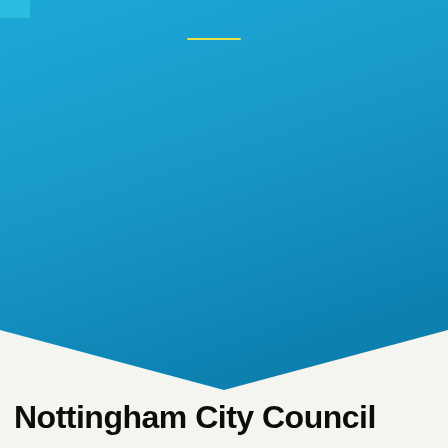[Figure (illustration): Nottingham City Council branded cover page design with a large blue gradient background filling the upper three-quarters of the page, a small teal rectangle in the top-left corner, a thin yellow/cream horizontal accent line near the top center, a white chevron/arrow shape pointing downward at the bottom of the blue area, and a light off-white lower section containing the council name in large bold black text.]
Nottingham City Council